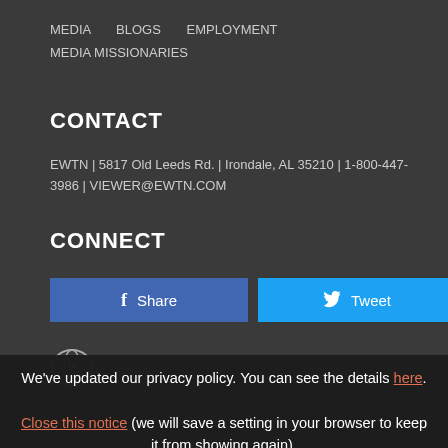MEDIA    BLOGS    EMPLOYMENT    MEDIA MISSIONARIES
CONTACT
EWTN | 5817 Old Leeds Rd. | Irondale, AL 35210 | 1-800-447-3986 | VIEWER@EWTN.COM
CONNECT
[Figure (other): Facebook Share button and Twitter Tweet button]
[Figure (logo): EWTN globe logo with Global text]
We've updated our privacy policy. You can see the details here. Close this notice (we will save a setting in your browser to keep it from showing again).